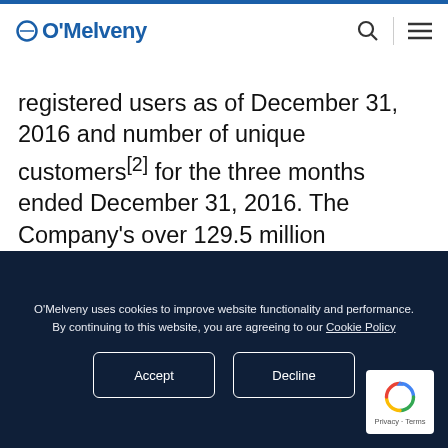O'Melveny
registered users as of December 31, 2016 and number of unique customers[2] for the three months ended December 31, 2016. The Company's over 129.5 million registered users include diverse and educated job seekers who are at various stages of their careers and are in demand by employers as a result of the general shortage of skilled and educated workers in China
O'Melveny uses cookies to improve website functionality and performance. By continuing to this website, you are agreeing to our Cookie Policy
Accept
Decline